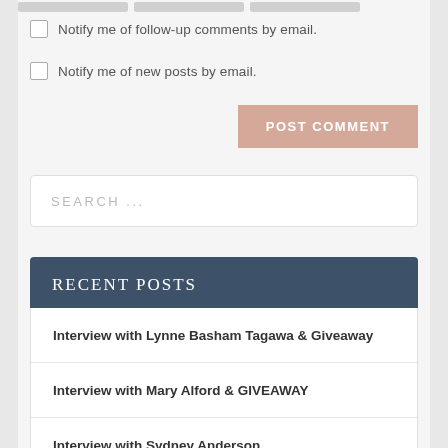Notify me of follow-up comments by email.
Notify me of new posts by email.
POST COMMENT
SEARCH ...
Recent Posts
Interview with Lynne Basham Tagawa & Giveaway
Interview with Mary Alford & GIVEAWAY
Interview with Sydney Anderson